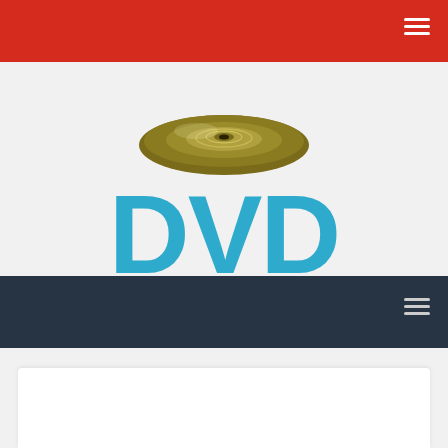[Figure (logo): DVD Japanimation logo: a gold/olive vinyl disc above large teal bold letters 'DVD', with italic olive/gold serif text 'japanimation' below]